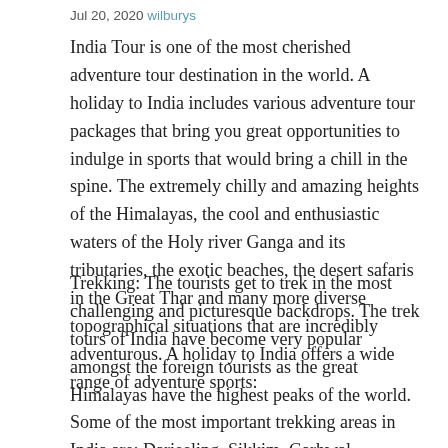Jul 20, 2020 wilburys
India Tour is one of the most cherished adventure tour destination in the world. A holiday to India includes various adventure tour packages that bring you great opportunities to indulge in sports that would bring a chill in the spine. The extremely chilly and amazing heights of the Himalayas, the cool and enthusiastic waters of the Holy river Ganga and its tributaries, the exotic beaches, the desert safaris in the Great Thar and many more diverse topographical situations that are incredibly adventurous. A holiday to India offers a wide range of adventure sports:
Trekking: The tourists get to trek in the most challenging and picturesque backdrops. The trek tours of India have become very popular amongst the foreign tourists as the great Himalayas have the highest peaks of the world. Some of the most important trekking areas in India are: Darjeeling, Sikkim, Garhwal, Kumaon and of course the mightiest and most revered the great Himalayas. A trek tour